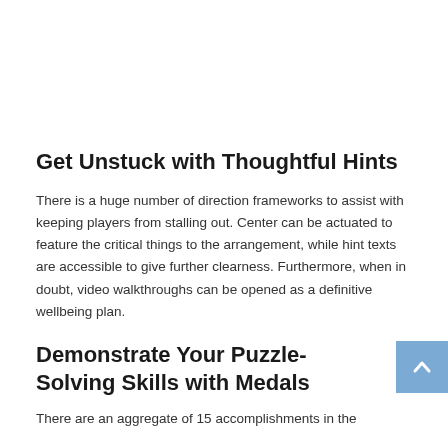Get Unstuck with Thoughtful Hints
There is a huge number of direction frameworks to assist with keeping players from stalling out. Center can be actuated to feature the critical things to the arrangement, while hint texts are accessible to give further clearness. Furthermore, when in doubt, video walkthroughs can be opened as a definitive wellbeing plan.
Demonstrate Your Puzzle-Solving Skills with Medals
There are an aggregate of 15 accomplishments in the